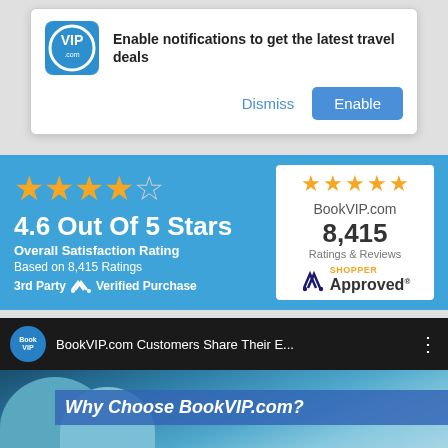[Figure (screenshot): VIP.com notification popup asking to enable notifications for latest travel deals, with Dismiss and Enable buttons]
[Figure (infographic): BookVIP.com 4.6 out of 5 stars overall satisfaction rating based on 8,415 ratings, with Shopper Approved badge]
[Figure (screenshot): BookVIP.com YouTube video thumbnail: 'BookVIP.com Customers Share Their E...' with Why Choose BookVIP.com? banner]